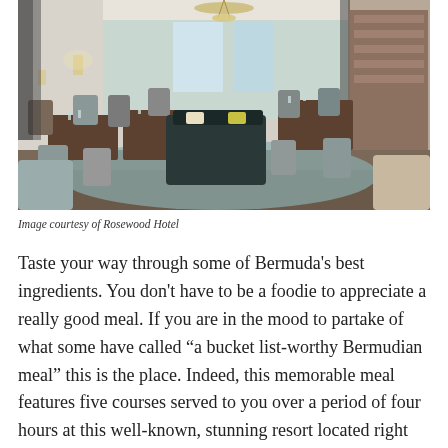[Figure (photo): Interior of an elegant restaurant dining room with white paneled walls, chandelier lighting, dark wood dining tables set with glassware and linens, upholstered chairs, and a bar/shelving area visible on the right. Large windows at the back let in natural light.]
Image courtesy of Rosewood Hotel
Taste your way through some of Bermuda's best ingredients. You don't have to be a foodie to appreciate a really good meal. If you are in the mood to partake of what some have called “a bucket list-worthy Bermudian meal” this is the place. Indeed, this memorable meal features five courses served to you over a period of four hours at this well-known, stunning resort located right on the edge of the water.